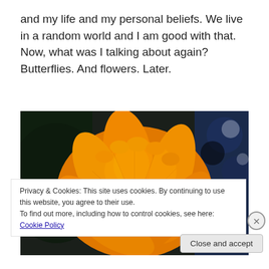and my life and my personal beliefs. We live in a random world and I am good with that. Now, what was I talking about again? Butterflies. And flowers. Later.
[Figure (photo): Close-up photograph of an orange flower (marigold or similar) with dark background and blue bokeh on the right side]
Privacy & Cookies: This site uses cookies. By continuing to use this website, you agree to their use.
To find out more, including how to control cookies, see here: Cookie Policy
Close and accept